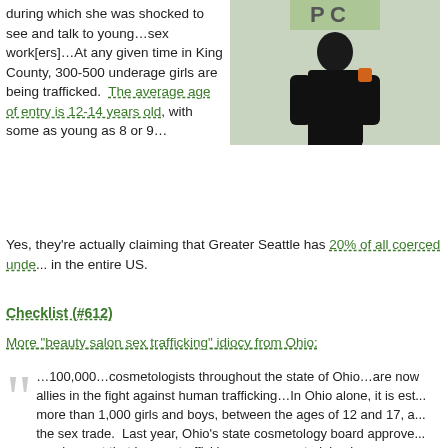during which she was shocked to see and talk to young…sex work[ers]…At any given time in King County, 300-500 underage girls are being trafficked. The average age of entry is 12-14 years old, with some as young as 8 or 9…
[Figure (photo): A person in dark clothing standing in front of a light-colored background with partial text visible.]
Yes, they're actually claiming that Greater Seattle has 20% of all coerced unde... in the entire US.
Checklist (#612)
More "beauty salon sex trafficking" idiocy from Ohio:
…100,000…cosmetologists throughout the state of Ohio…are now allies in the fight against human trafficking…In Ohio alone, it is est... more than 1,000 girls and boys, between the ages of 12 and 17, a... the sex trade. Last year, Ohio's state cosmetology board approve... requirement that human-trafficking awareness training become a m... of obtaining a cosmetology license…[fetishists fantasize that] traffi... called pimps may take a victim to a hair salon in order to change th... appearance to avoid detection…If stylists see anything suspicious